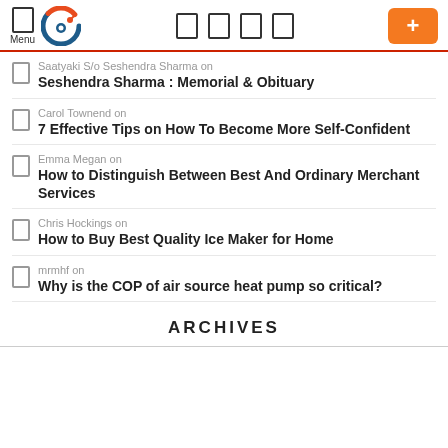Menu | Logo | Nav icons | +
Saatyaki S/o Seshendra Sharma on
Seshendra Sharma : Memorial & Obituary
Carol Townend on
7 Effective Tips on How To Become More Self-Confident
Emma Megan on
How to Distinguish Between Best And Ordinary Merchant Services
Chris Hockings on
How to Buy Best Quality Ice Maker for Home
mrmhf on
Why is the COP of air source heat pump so critical?
ARCHIVES